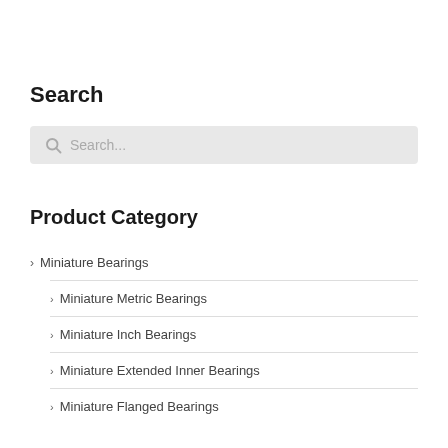Search
[Figure (screenshot): Search input box with placeholder text 'Search...' and a search icon on the left, displayed with a light gray background]
Product Category
Miniature Bearings
Miniature Metric Bearings
Miniature Inch Bearings
Miniature Extended Inner Bearings
Miniature Flanged Bearings